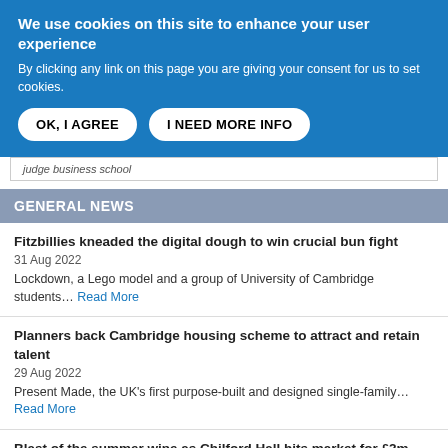We use cookies on this site to enhance your user experience
By clicking any link on this page you are giving your consent for us to set cookies.
OK, I AGREE | I NEED MORE INFO
judge business school
GENERAL NEWS
Fitzbillies kneaded the digital dough to win crucial bun fight
31 Aug 2022
Lockdown, a Lego model and a group of University of Cambridge students… Read More
Planners back Cambridge housing scheme to attract and retain talent
29 Aug 2022
Present Made, the UK's first purpose-built and designed single-family… Read More
Blast of the summer wine as Chilford Hall hits market for £2m
25 Aug 2022
Chilford Hall Vineyard and Winery, one of England's oldest established… Read More
Energy Performance Certificates: Are you EPC Ready?